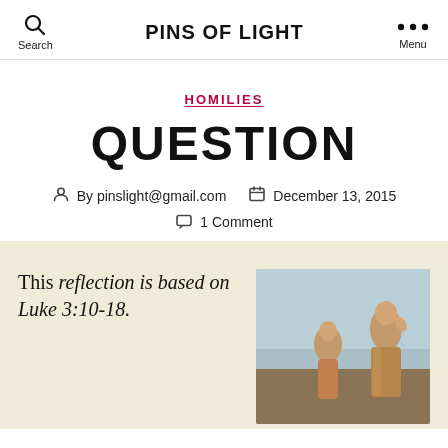PINS OF LIGHT
HOMILIES
QUESTION
By pinslight@gmail.com   December 13, 2015   1 Comment
This reflection is based on Luke 3:10-18.
[Figure (photo): A painting depicting a religious scene with John the Baptist and Jesus, figures in robes against a blue sky background.]